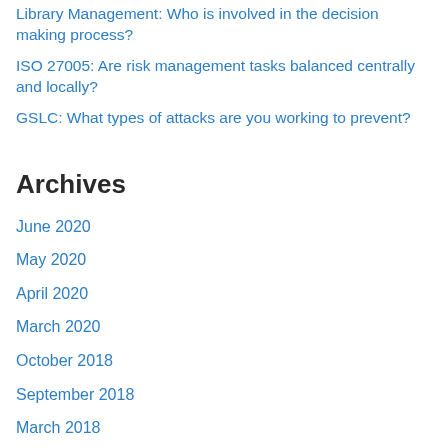Library Management: Who is involved in the decision making process?
ISO 27005: Are risk management tasks balanced centrally and locally?
GSLC: What types of attacks are you working to prevent?
Archives
June 2020
May 2020
April 2020
March 2020
October 2018
September 2018
March 2018